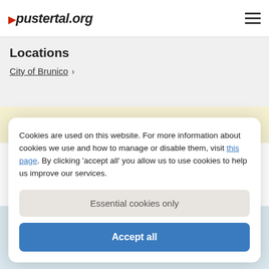pustertal.org
Locations
City of Brunico >
Home » Highlights » Castles » Brunico Castle
Cookies are used on this website. For more information about cookies we use and how to manage or disable them, visit this page. By clicking 'accept all' you allow us to use cookies to help us improve our services.
Essential cookies only
Accept all
★ ★ ★ ★
Hotel Stoll
In untouched, idyllic nature...